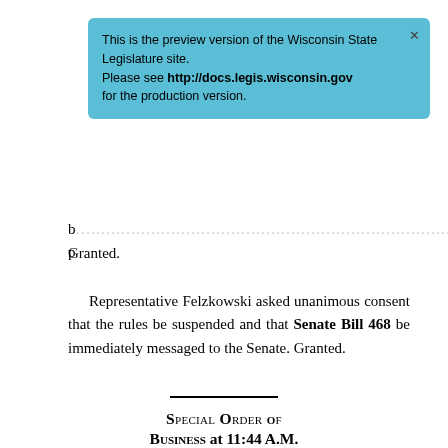[Figure (screenshot): Blue banner overlay: 'This is the preview version of the Wisconsin State Legislature site. Please see http://docs.legis.wisconsin.gov for the production version.']
b[...] Granted.
Representative Felzkowski asked unanimous consent that the rules be suspended and that Senate Bill 468 be immediately messaged to the Senate. Granted.
Special Order of Business at 11:44 A.M.
Senate Bill 489
Relating to: allowing reimbursement of certain expenses for patients participating in cancer clinical trials